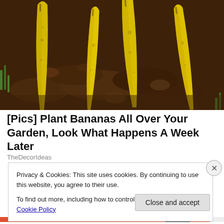[Figure (photo): Bananas planted upright in dark garden soil, yellow banana peels or whole bananas sticking out of the dirt at various angles, with some green grass visible.]
[Pics] Plant Bananas All Over Your Garden, Look What Happens A Week Later
TheDecorIdeas
Privacy & Cookies: This site uses cookies. By continuing to use this website, you agree to their use.
To find out more, including how to control cookies, see here: Cookie Policy
Close and accept